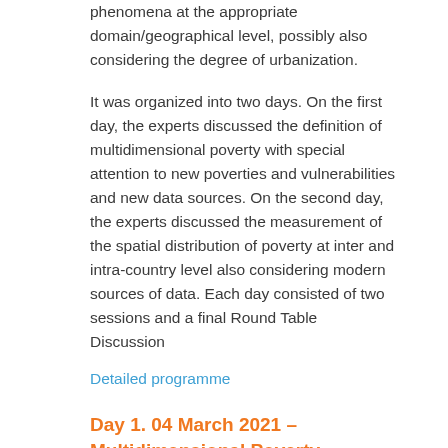phenomena at the appropriate domain/geographical level, possibly also considering the degree of urbanization.
It was organized into two days. On the first day, the experts discussed the definition of multidimensional poverty with special attention to new poverties and vulnerabilities and new data sources. On the second day, the experts discussed the measurement of the spatial distribution of poverty at inter and intra-country level also considering modern sources of data. Each day consisted of two sessions and a final Round Table Discussion
Detailed programme
Day 1. 04 March 2021 – Multidimensional Poverty
SESSION 1: The definition of multidimensional poverty